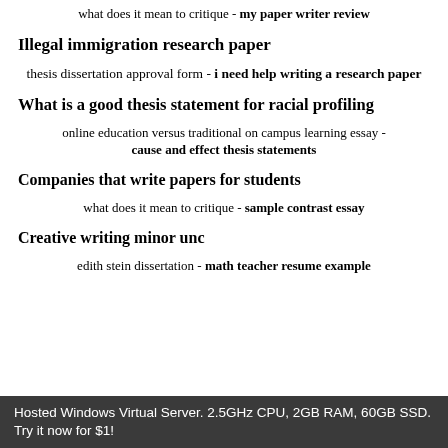what does it mean to critique - my paper writer review
Illegal immigration research paper
thesis dissertation approval form - i need help writing a research paper
What is a good thesis statement for racial profiling
online education versus traditional on campus learning essay - cause and effect thesis statements
Companies that write papers for students
what does it mean to critique - sample contrast essay
Creative writing minor unc
edith stein dissertation - math teacher resume example
Hosted Windows Virtual Server. 2.5GHz CPU, 2GB RAM, 60GB SSD. Try it now for $1!